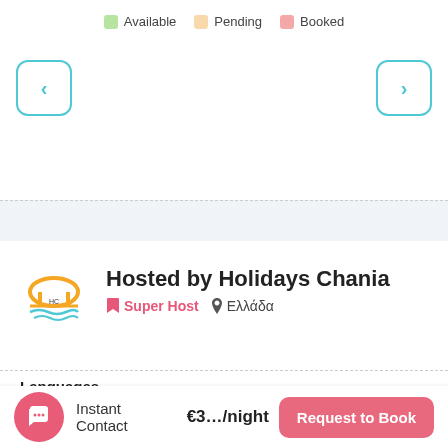Available  Pending  Booked
[Figure (screenshot): Calendar navigation with left and right arrow buttons in teal-bordered rounded squares]
[Figure (logo): Holidays Chania logo — orange arch/bridge with blue wave]
Hosted by Holidays Chania
Super Host  Ελλάδα
Languages
Greek, English
Instant Contact
€3…/night
Request to Book